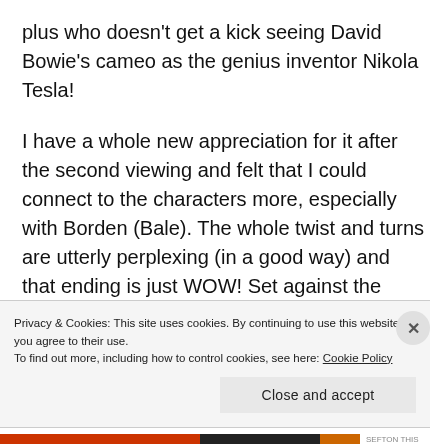plus who doesn't get a kick seeing David Bowie's cameo as the genius inventor Nikola Tesla!
I have a whole new appreciation for it after the second viewing and felt that I could connect to the characters more, especially with Borden (Bale). The whole twist and turns are utterly perplexing (in a good way) and that ending is just WOW! Set against the backdrop
Privacy & Cookies: This site uses cookies. By continuing to use this website, you agree to their use.
To find out more, including how to control cookies, see here: Cookie Policy
Close and accept